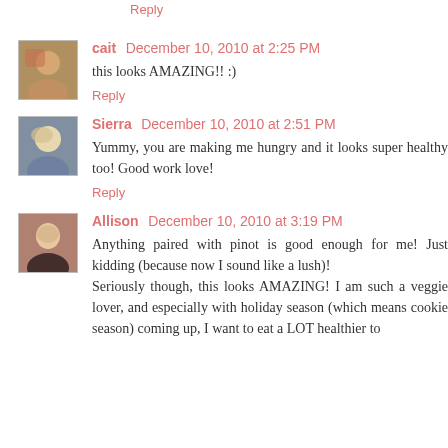Reply
cait  December 10, 2010 at 2:25 PM
this looks AMAZING!! :)
Reply
Sierra  December 10, 2010 at 2:51 PM
Yummy, you are making me hungry and it looks super healthy too! Good work love!
Reply
Allison  December 10, 2010 at 3:19 PM
Anything paired with pinot is good enough for me! Just kidding (because now I sound like a lush)! Seriously though, this looks AMAZING! I am such a veggie lover, and especially with holiday season (which means cookie season) coming up, I want to eat a LOT healthier to